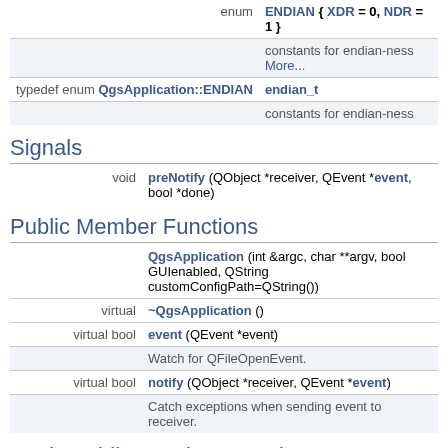| enum | ENDIAN { XDR = 0, NDR = 1 } |
|  | constants for endian-ness More... |
| typedef enum QgsApplication::ENDIAN | endian_t |
|  | constants for endian-ness |
Signals
| void | preNotify (QObject *receiver, QEvent *event, bool *done) |
Public Member Functions
|  | QgsApplication (int &argc, char **argv, bool GUIenabled, QString customConfigPath=QString()) |
| virtual | ~QgsApplication () |
| virtual bool | event (QEvent *event) |
|  | Watch for QFileOpenEvent. |
| virtual bool | notify (QObject *receiver, QEvent *event) |
|  | Catch exceptions when sending event to receiver. |
Static Public Member Functions